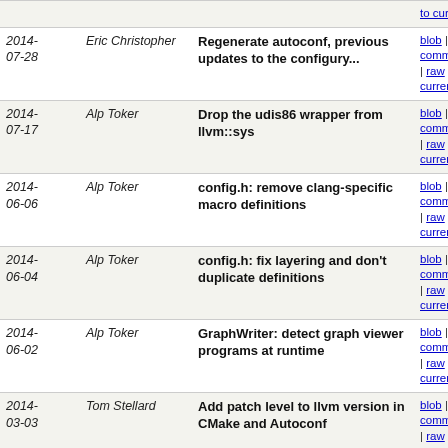| Date | Author | Message | Links |
| --- | --- | --- | --- |
| 2014-07-28 | Eric Christopher | Regenerate autoconf, previous updates to the configury... | blob | commitdiff | raw | diff to current |
| 2014-07-17 | Alp Toker | Drop the udis86 wrapper from llvm::sys | blob | commitdiff | raw | diff to current |
| 2014-06-06 | Alp Toker | config.h: remove clang-specific macro definitions | blob | commitdiff | raw | diff to current |
| 2014-06-04 | Alp Toker | config.h: fix layering and don't duplicate definitions | blob | commitdiff | raw | diff to current |
| 2014-06-02 | Alp Toker | GraphWriter: detect graph viewer programs at runtime | blob | commitdiff | raw | diff to current |
| 2014-03-03 | Tom Stellard | Add patch level to llvm version in CMake and Autoconf | blob | commitdiff | raw | diff to current |
| 2014-02-28 | Rafael Espindola | Drop libtool from llvm. | blob | commitdiff | raw | diff to current |
| 2014-02-05 | Todd Fiala | Fix configure to find arc4random via header files. | blob | commitdiff | raw | diff to current |
| 2014-01-31 | Peter Collingbourne | Introduce line editor library. | blob | commitdiff | raw | diff to current |
| 2014-01-09 | Eric Christopher | Remove the test for endianness in configure.ac and... | blob | commitdiff | raw | diff to current |